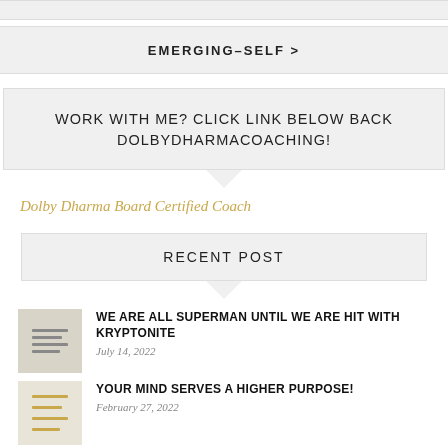EMERGING-SELF >
WORK WITH ME? CLICK LINK BELOW BACK DOLBYDHARMACOACHING!
Dolby Dharma Board Certified Coach
RECENT POST
WE ARE ALL SUPERMAN UNTIL WE ARE HIT WITH KRYPTONITE
July 14, 2022
YOUR MIND SERVES A HIGHER PURPOSE!
February 27, 2022